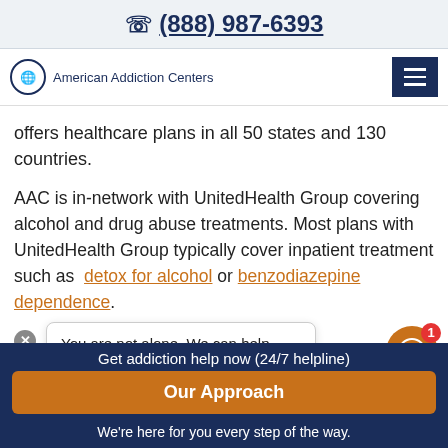☎ (888) 987-6393
[Figure (logo): American Addiction Centers logo with globe icon and hamburger menu button]
offers healthcare plans in all 50 states and 130 countries.
AAC is in-network with UnitedHealth Group covering alcohol and drug abuse treatments. Most plans with UnitedHealth Group typically cover inpatient treatment such as detox for alcohol or benzodiazepine dependence.
[Figure (screenshot): Chat popup bubble saying: You are not alone. We can help you. Let's chat. with close button and orange chat icon with notification badge showing 1]
Get addiction help now (24/7 helpline)
Our Approach
We're here for you every step of the way.